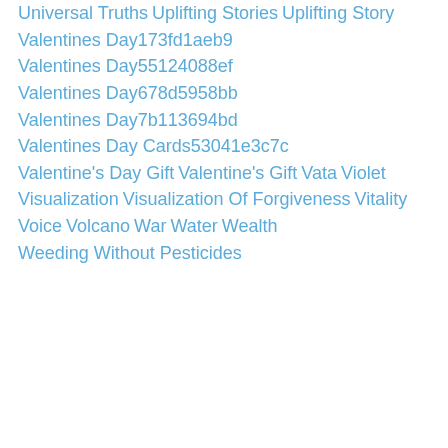Universal Truths
Uplifting Stories
Uplifting Story
Valentines Day173fd1aeb9
Valentines Day55124088ef
Valentines Day678d5958bb
Valentines Day7b113694bd
Valentines Day Cards53041e3c7c
Valentine's Day Gift
Valentine's Gift
Vata
Violet
Visualization
Visualization Of Forgiveness
Vitality
Voice
Volcano
War
Water
Wealth
Weeding Without Pesticides